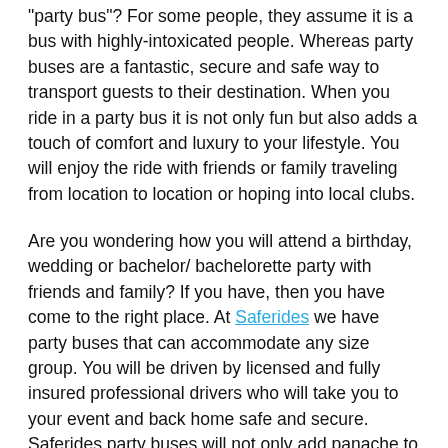"party bus"? For some people, they assume it is a bus with highly-intoxicated people. Whereas party buses are a fantastic, secure and safe way to transport guests to their destination. When you ride in a party bus it is not only fun but also adds a touch of comfort and luxury to your lifestyle. You will enjoy the ride with friends or family traveling from location to location or hoping into local clubs.
Are you wondering how you will attend a birthday, wedding or bachelor/ bachelorette party with friends and family? If you have, then you have come to the right place. At Saferides we have party buses that can accommodate any size group. You will be driven by licensed and fully insured professional drivers who will take you to your event and back home safe and secure. Saferides party buses will not only add panache to your special event but also more affordable than most people think.
SafeRides party buses are the perfect solution when you plan your next special occasion for the ultimate fun. They are more